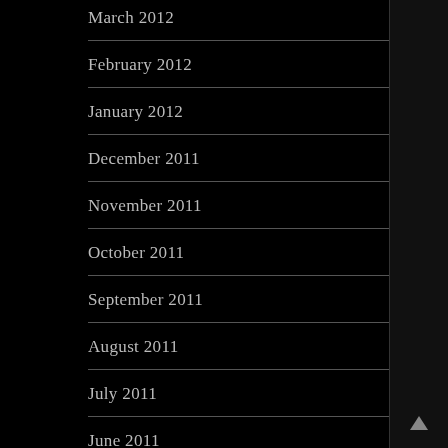March 2012
February 2012
January 2012
December 2011
November 2011
October 2011
September 2011
August 2011
July 2011
June 2011
May 2011
April 2011